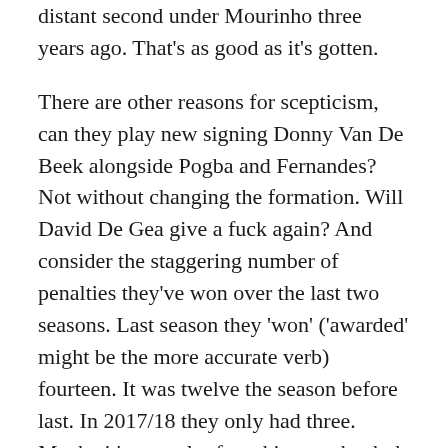distant second under Mourinho three years ago. That's as good as it's gotten.
There are other reasons for scepticism, can they play new signing Donny Van De Beek alongside Pogba and Fernandes? Not without changing the formation. Will David De Gea give a fuck again? And consider the staggering number of penalties they've won over the last two seasons. Last season they 'won' ('awarded' might be the more accurate verb) fourteen. It was twelve the season before last. In 2017/18 they only had three. Maybe it's a result of working on the dark arts in training, but I suspect they've been unsustainably fortunate, with last year's total assisted further by the imbecile refs who, with the integrity of a worn urinal cake, have shown they can't be trusted to use VAR properly. Thanks to their incompetence VAR is now viewed with the same level of